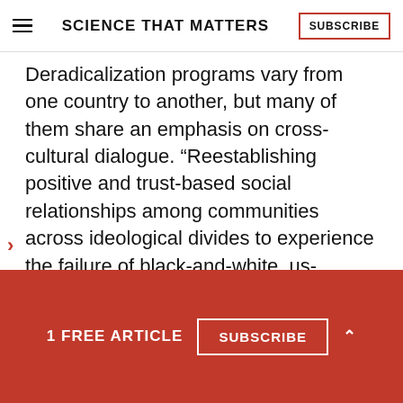SCIENCE THAT MATTERS | SUBSCRIBE
Deradicalization programs vary from one country to another, but many of them share an emphasis on cross-cultural dialogue. “Reestablishing positive and trust-based social relationships among communities across ideological divides to experience the failure of black-and-white, us-versus-them extremist ideologies is of the utmost importance,” says Daniel Koehler, the founding director of the German Institute on Radicalization and De-Radicalization
1 FREE ARTICLE  SUBSCRIBE